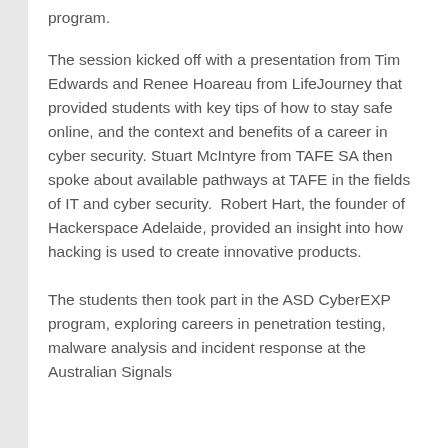program.
The session kicked off with a presentation from Tim Edwards and Renee Hoareau from LifeJourney that provided students with key tips of how to stay safe online, and the context and benefits of a career in cyber security. Stuart McIntyre from TAFE SA then spoke about available pathways at TAFE in the fields of IT and cyber security.  Robert Hart, the founder of Hackerspace Adelaide, provided an insight into how hacking is used to create innovative products.
The students then took part in the ASD CyberEXP program, exploring careers in penetration testing, malware analysis and incident response at the Australian Signals